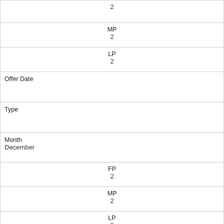| 2 |
| MP
2 |
| LP
2 |
| Offer Date |  |
| Type |  |
| Month
December |
| FP
2 |
| MP
2 |
| LP
2 |
| Offer Date |  |